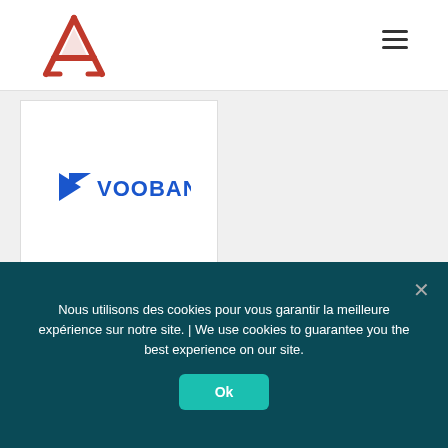[Figure (logo): Red/orange stylized letter A logo (Axionable or similar) in the top left header]
[Figure (illustration): Hamburger menu icon (three horizontal lines) in the top right header]
[Figure (logo): Vooban logo — blue arrow/flag icon followed by bold blue uppercase text VOOBAN — inside a white card panel]
Nous utilisons des cookies pour vous garantir la meilleure expérience sur notre site. | We use cookies to guarantee you the best experience on our site.
Ok